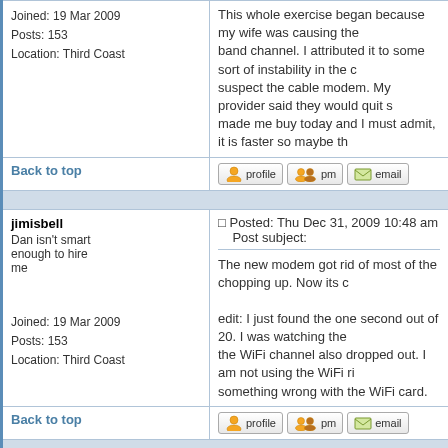Joined: 19 Mar 2009
Posts: 153
Location: Third Coast
This whole exercise began because my wife was causing the band channel. I attributed it to some sort of instability in the c suspect the cable modem. My provider said they would quit s made me buy today and I must admit, it is faster so maybe th
Back to top
jimisbell
Dan isn't smart enough to hire me
Posted: Thu Dec 31, 2009 10:48 am    Post subject:
The new modem got rid of most of the chopping up. Now its c

edit: I just found the one second out of 20. I was watching the the WiFi channel also dropped out. I am not using the WiFi ri something wrong with the WiFi card.
Joined: 19 Mar 2009
Posts: 153
Location: Third Coast
Back to top
jimisbell
Posted: Sun Jan 03, 2010 7:19 pm    Post subject: